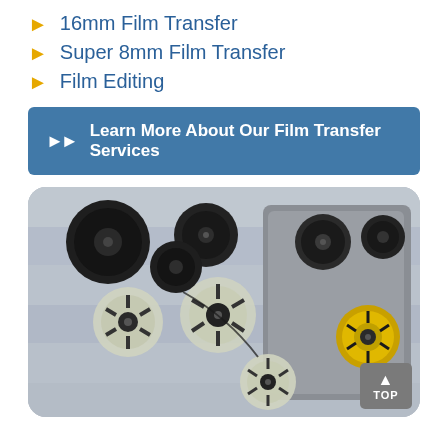16mm Film Transfer
Super 8mm Film Transfer
Film Editing
Learn More About Our Film Transfer Services
[Figure (photo): Assorted 8mm and 16mm film reels scattered on a wooden surface, with a metal film reel case on the right side containing multiple reels including yellow-accented ones.]